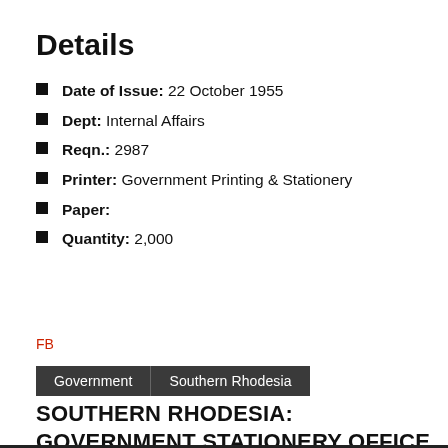Details
Date of Issue: 22 October 1955
Dept: Internal Affairs
Reqn.: 2987
Printer: Government Printing & Stationery
Paper:
Quantity: 2,000
FB
Government  Southern Rhodesia
SOUTHERN RHODESIA: GOVERNMENT STATIONERY OFFICE (1659)